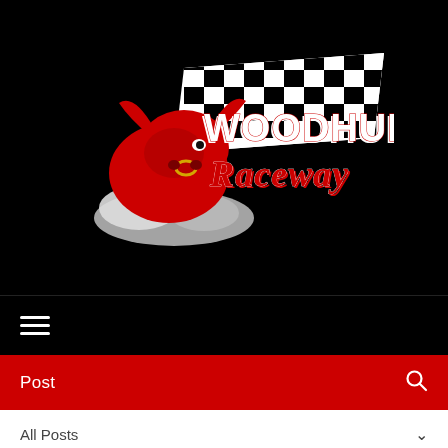[Figure (logo): Woodhull Raceway logo: red bull mascot charging with smoke, checkered flag background, 'WOODHULL Raceway' text in stylized font, on black background]
[Figure (other): Hamburger navigation menu icon (three horizontal white lines) on black background]
Post
All Posts
2 min
Woodhull Raceway Quick